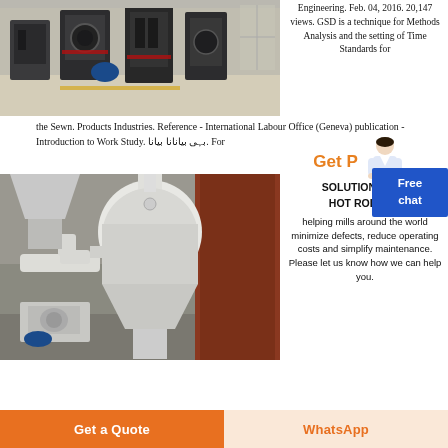[Figure (photo): Industrial manufacturing equipment/machines in a factory hall]
Engineering. Feb. 04, 2016. 20,147 views. GSD is a technique for Methods Analysis and the setting of Time Standards for the Sewn. Products Industries. Reference - International Labour Office (Geneva) publication - Introduction to Work Study. برای دانلود کلیک کنید. For
Get P
[Figure (photo): Industrial milling/grinding machinery with white pipes and cyclone separator in a warehouse]
SOLUTIONS FOR HOT ROLLING
helping mills around the world minimize defects, reduce operating costs and simplify maintenance. Please let us know how we can help you.
Get a Quote
WhatsApp